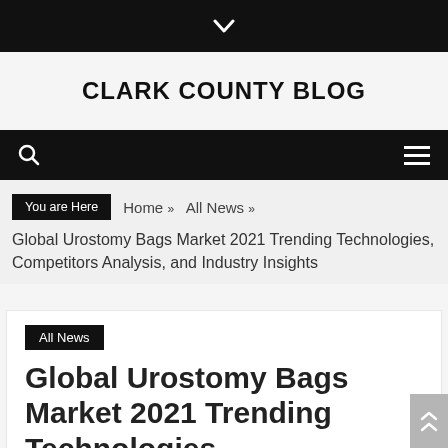CLARK COUNTY BLOG
You are Here  Home »  All News »
Global Urostomy Bags Market 2021 Trending Technologies, Competitors Analysis, and Industry Insights
All News
Global Urostomy Bags Market 2021 Trending Technologies,